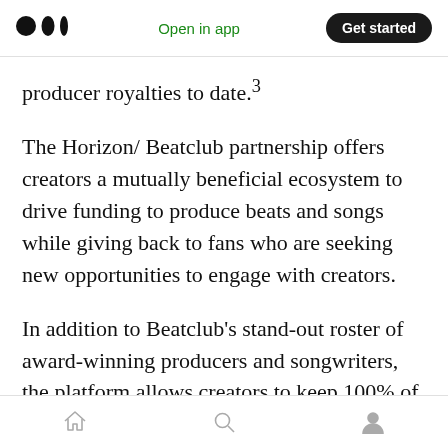Medium logo | Open in app | Get started
producer royalties to date.³
The Horizon/ Beatclub partnership offers creators a mutually beneficial ecosystem to drive funding to produce beats and songs while giving back to fans who are seeking new opportunities to engage with creators.
In addition to Beatclub's stand-out roster of award-winning producers and songwriters, the platform allows creators to keep 100% of their music rights and revenue, set their own terms for pricing, and retain their publishing splits and
Home | Search | Profile